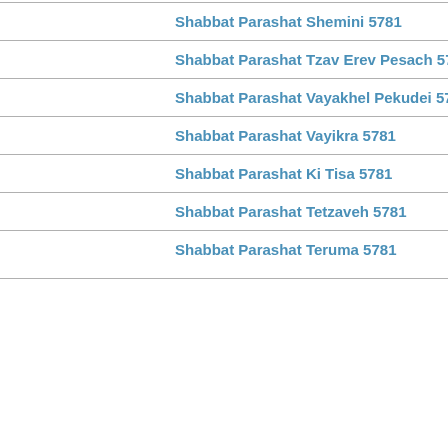Shabbat Parashat Shemini 5781
Shabbat Parashat Tzav Erev Pesach 5781
Shabbat Parashat Vayakhel Pekudei 5781
Shabbat Parashat Vayikra 5781
Shabbat Parashat Ki Tisa 5781
Shabbat Parashat Tetzaveh 5781
Shabbat Parashat Teruma 5781